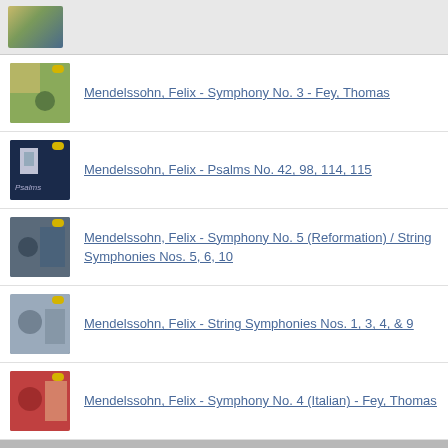[Figure (screenshot): Partially visible album thumbnail at top]
Mendelssohn, Felix - Symphony No. 3 - Fey, Thomas
Mendelssohn, Felix - Psalms No. 42, 98, 114, 115
Mendelssohn, Felix - Symphony No. 5 (Reformation) / String Symphonies Nos. 5, 6, 10
Mendelssohn, Felix - String Symphonies Nos. 1, 3, 4, & 9
Mendelssohn, Felix - Symphony No. 4 (Italian) - Fey, Thomas